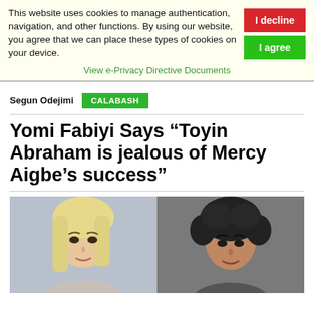This website uses cookies to manage authentication, navigation, and other functions. By using our website, you agree that we can place these types of cookies on your device.
View e-Privacy Directive Documents
Segun Odejimi
CALABASH
Yomi Fabiyi Says “Toyin Abraham is jealous of Mercy Aigbe’s success”
[Figure (photo): Two women side by side: one with blonde hair on the left, one with dark curly hair on the right]